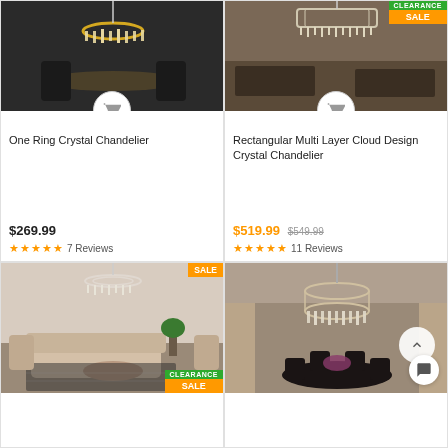[Figure (photo): Room with golden chandelier over dining table, dark background]
One Ring Crystal Chandelier
$269.99
★★★★★ 7 Reviews
[Figure (photo): Room interior with rectangular chandelier, CLEARANCE SALE badge]
Rectangular Multi Layer Cloud Design Crystal Chandelier
$519.99 $549.99
★★★★★ 11 Reviews
[Figure (photo): Living room with crystal chandelier, CLEARANCE SALE badge]
[Figure (photo): Dining room with round crystal chandelier, dark finish]